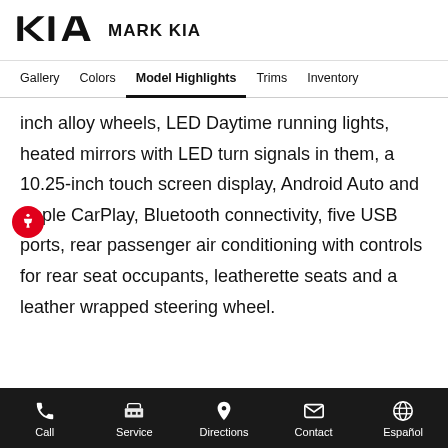KIA MARK KIA
Gallery  Colors  Model Highlights  Trims  Inventory
inch alloy wheels, LED Daytime running lights, heated mirrors with LED turn signals in them, a 10.25-inch touch screen display, Android Auto and Apple CarPlay, Bluetooth connectivity, five USB ports, rear passenger air conditioning with controls for rear seat occupants, leatherette seats and a leather wrapped steering wheel.
Call  Service  Directions  Contact  Español